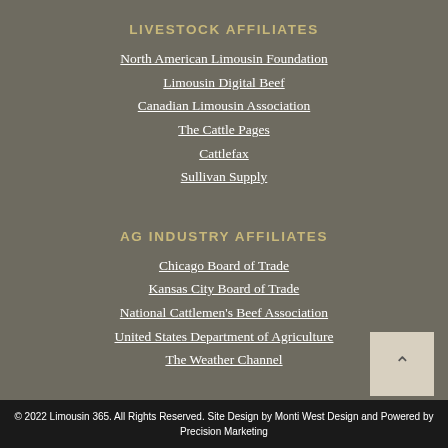LIVESTOCK AFFILIATES
North American Limousin Foundation
Limousin Digital Beef
Canadian Limousin Association
The Cattle Pages
Cattlefax
Sullivan Supply
AG INDUSTRY AFFILIATES
Chicago Board of Trade
Kansas City Board of Trade
National Cattlemen's Beef Association
United States Department of Agriculture
The Weather Channel
© 2022 Limousin 365. All Rights Reserved. Site Design by Monti West Design and Powered by Precision Marketing